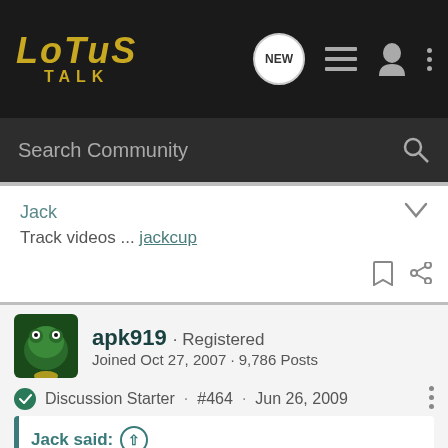LOTUS TALK
Search Community
Jack
Track videos ... jackcup
apk919 · Registered
Joined Oct 27, 2007 · 9,786 Posts
Discussion Starter · #464 · Jun 26, 2009
Jack said:
Here are a few photos of the famous Aeroman's creation (he does amazing work :bow 😊 to increase airflow to the Cup car I/C .... ducts galore. 😁